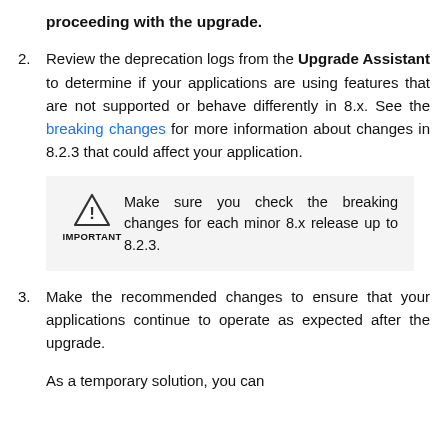proceeding with the upgrade.
2. Review the deprecation logs from the Upgrade Assistant to determine if your applications are using features that are not supported or behave differently in 8.x. See the breaking changes for more information about changes in 8.2.3 that could affect your application.
IMPORTANT: Make sure you check the breaking changes for each minor 8.x release up to 8.2.3.
3. Make the recommended changes to ensure that your applications continue to operate as expected after the upgrade.
As a temporary solution, you can